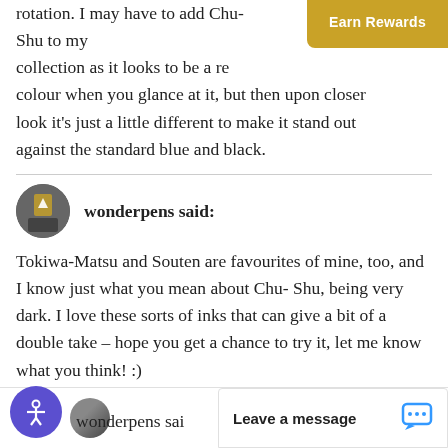rotation. I may have to add Chu-Shu to my collection as it looks to be a really interesting colour when you glance at it, but then upon closer look it's just a little different to make it stand out against the standard blue and black.
wonderpens said:
Tokiwa-Matsu and Souten are favourites of mine, too, and I know just what you mean about Chu-Shu, being very dark. I love these sorts of inks that can give a bit of a double take – hope you get a chance to try it, let me know what you think! :)
wonderpens sai...